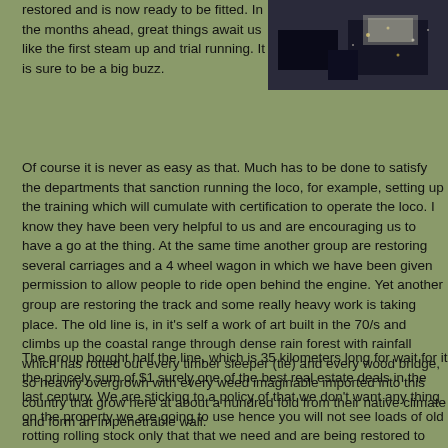restored and is now ready to be fitted. In the months ahead, great things await us like the first steam up and trial running. It is sure to be a big buzz.
[Figure (photo): Aerial photograph of a railway or industrial site at night or dusk, showing tracks and structures.]
Of course it is never as easy as that. Much has to be done to satisfy the departments that sanction running the loco, for example, setting up the training which will cumulate with certification to operate the loco. I know they have been very helpful to us and are encouraging us to have a go at the thing. At the same time another group are restoring several carriages and a 4 wheel wagon in which we have been given permission to allow people to ride open behind the engine. Yet another group are restoring the track and some really heavy work is taking place. The old line is, in it's self a work of art built in the 70/s and climbs up the coastal range through dense rain forest with rainfall which has rotted out every timber sleeper (tie) and every wood bridge, so heavily overgrown with every weed imaginable imported into this country that grow here at about a hundred fold from their native climate and form an impenetrable wall.
The group bought half the line, which is 35 kilometers long for wait for it the princely sum of $1 surely one of the best real estate deals in the last century. We are sticking to a policy of that we don't want any thing on the property we are going to use hence you will not see loads of old rotting rolling stock only that that we need and are being restored to operate the railway.